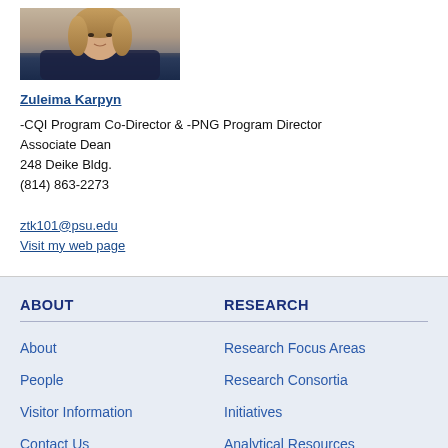[Figure (photo): Portrait photo of Zuleima Karpyn, a woman with curly hair wearing a dark top]
Zuleima Karpyn
-CQI Program Co-Director & -PNG Program Director
Associate Dean
248 Deike Bldg.
(814) 863-2273

ztk101@psu.edu
Visit my web page
ABOUT
About
People
Visitor Information
Contact Us
RESEARCH
Research Focus Areas
Research Consortia
Initiatives
Analytical Resources